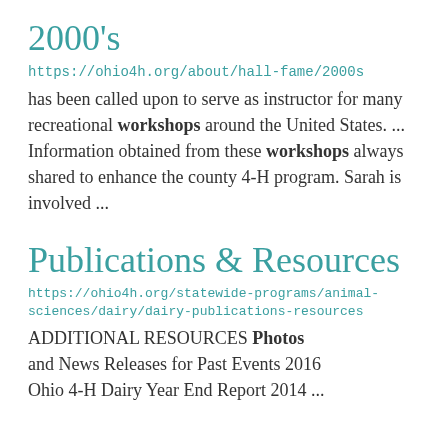2000's
https://ohio4h.org/about/hall-fame/2000s
has been called upon to serve as instructor for many recreational workshops around the United States. ... Information obtained from these workshops always shared to enhance the county 4-H program. Sarah is involved ...
Publications & Resources
https://ohio4h.org/statewide-programs/animal-sciences/dairy/dairy-publications-resources
ADDITIONAL RESOURCES Photos and News Releases for Past Events 2016 Ohio 4-H Dairy Year End Report 2014 ...